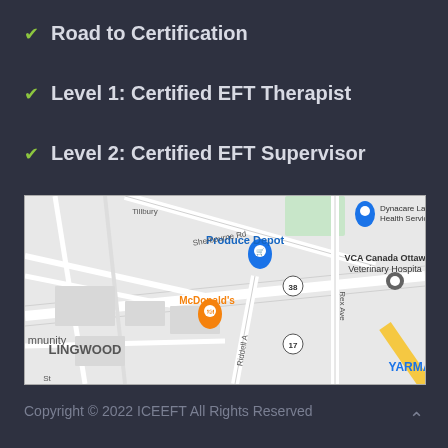Road to Certification
Level 1: Certified EFT Therapist
Level 2: Certified EFT Supervisor
[Figure (map): Google Maps view showing area around Ottawa with landmarks including Produce Depot, McDonald's, VCA Canada Ottawa Veterinary Hospital, Dynacare Laboratory Health Services Centre, and street names including Sherbourne Rd, Rex Ave, Riddell Ave, Tillbury, and route markers 38 and 17. Neighborhoods LINGWOOD and YARMA partially visible.]
Copyright © 2022 ICEEFT All Rights Reserved